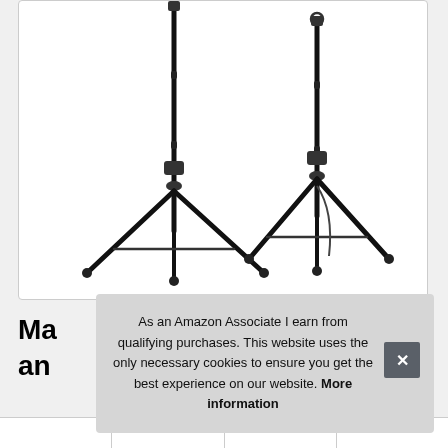[Figure (photo): Two black tripod speaker stands on a white background, shown side by side. The left stand is taller and more extended, the right stand is slightly shorter. Both have three-leg bases.]
Ma
an
As an Amazon Associate I earn from qualifying purchases. This website uses the only necessary cookies to ensure you get the best experience on our website. More information